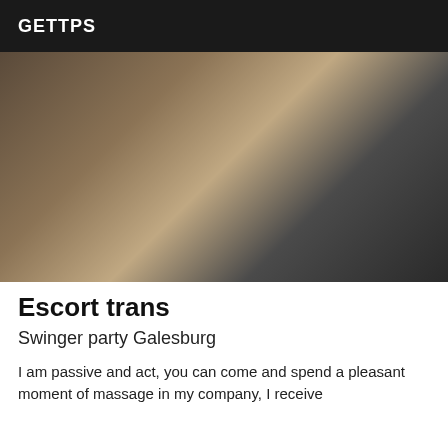GETTPS
[Figure (photo): A person posing in a room with an exercise bike in the background.]
Escort trans
Swinger party Galesburg
I am passive and act, you can come and spend a pleasant moment of massage in my company, I receive